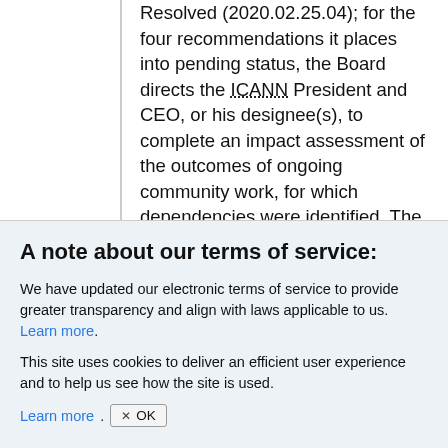Resolved (2020.02.25.04); for the four recommendations it places into pending status, the Board directs the ICANN President and CEO, or his designee(s), to complete an impact assessment of the outcomes of ongoing community work, for which dependencies were identified. The Board will consider recommendations it places into
A note about our terms of service:
We have updated our electronic terms of service to provide greater transparency and align with laws applicable to us. Learn more.
This site uses cookies to deliver an efficient user experience and to help us see how the site is used. Learn more.